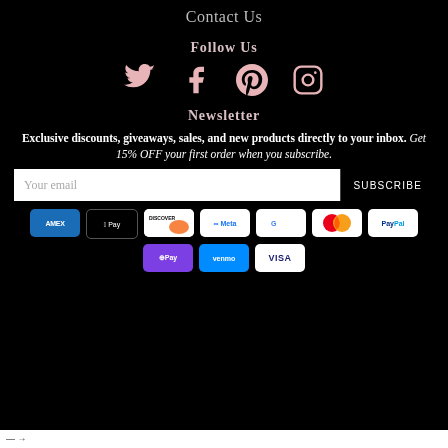Contact Us
Follow Us
[Figure (illustration): Social media icons: Twitter, Facebook, Pinterest, Instagram in pink/rose color]
Newsletter
Exclusive discounts, giveaways, sales, and new products directly to your inbox. Get 15% OFF your first order when you subscribe.
[Figure (other): Email subscription form with 'Your email' input field and SUBSCRIBE button]
[Figure (other): Payment method badges: American Express, Apple Pay, Discover, Meta Pay, Google Pay, Mastercard, PayPal, OPay, Venmo, Visa]
→